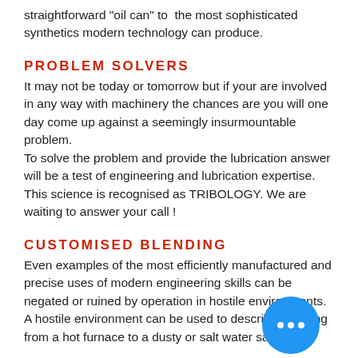straightforward "oil can" to  the most sophisticated synthetics modern technology can produce.
PROBLEM SOLVERS
It may not be today or tomorrow but if your are involved in any way with machinery the chances are you will one day come up against a seemingly insurmountable problem.
To solve the problem and provide the lubrication answer will be a test of engineering and lubrication expertise. This science is recognised as TRIBOLOGY. We are waiting to answer your call !
CUSTOMISED BLENDING
Even examples of the most efficiently manufactured and precise uses of modern engineering skills can be negated or ruined by operation in hostile environments.
A hostile environment can be used to describe anything from a hot furnace to a dusty or salt water saturated